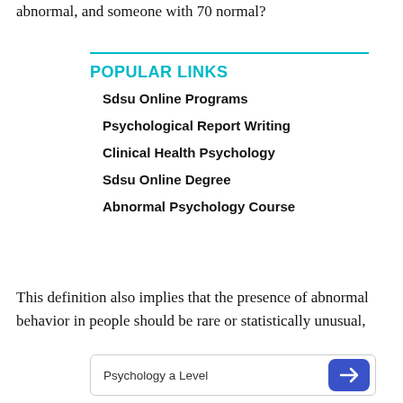abnormal, and someone with 70 normal?
POPULAR LINKS
Sdsu Online Programs
Psychological Report Writing
Clinical Health Psychology
Sdsu Online Degree
Abnormal Psychology Course
This definition also implies that the presence of abnormal behavior in people should be rare or statistically unusual,
Psychology a Level